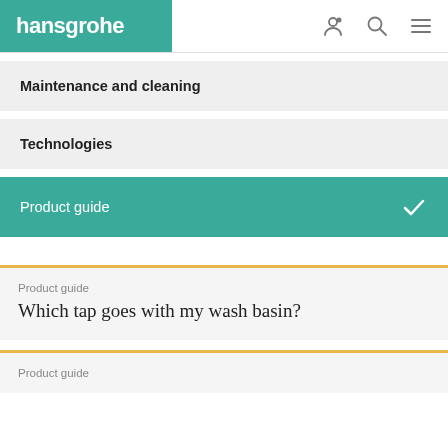hansgrohe
Maintenance and cleaning
Technologies
Product guide
Product guide
Which tap goes with my wash basin?
Product guide